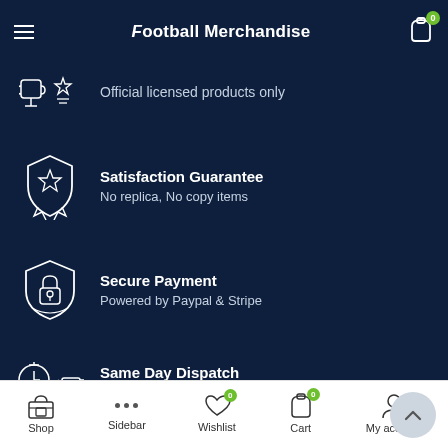Football Merchandise
Official licensed products only
Satisfaction Guarantee
No replica, No copy items
Secure Payment
Powered by Paypal & Stripe
Same Day Dispatch
All orders placed before 2PM
Shop  Sidebar  Wishlist  Cart  My account